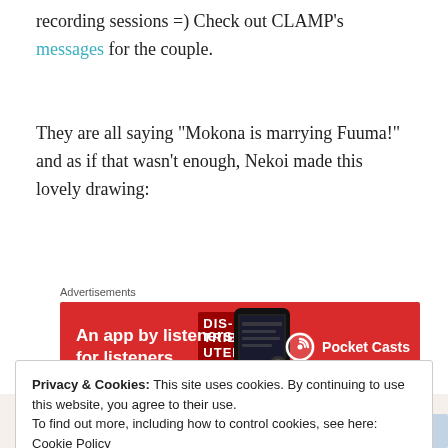recording sessions =) Check out CLAMP's messages for the couple.
They are all saying "Mokona is marrying Fuuma!" and as if that wasn't enough, Nekoi made this lovely drawing:
[Figure (other): Pocket Casts advertisement banner: red background, white text 'An app by listeners, for listeners.' with a phone image and Pocket Casts logo]
Privacy & Cookies: This site uses cookies. By continuing to use this website, you agree to their use.
To find out more, including how to control cookies, see here: Cookie Policy
[Figure (illustration): Bottom portion of an anime-style drawing partially visible]